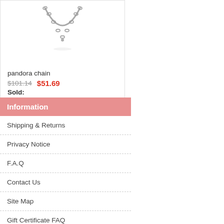[Figure (photo): Silver pandora chain necklace product image on white background]
pandora chain
$101.14  $51.69
Sold:
★★★★☆ (1671)  ♥like
Information
Shipping & Returns
Privacy Notice
F.A.Q
Contact Us
Site Map
Gift Certificate FAQ
Discount Coupons
Newsletter Unsubscribe